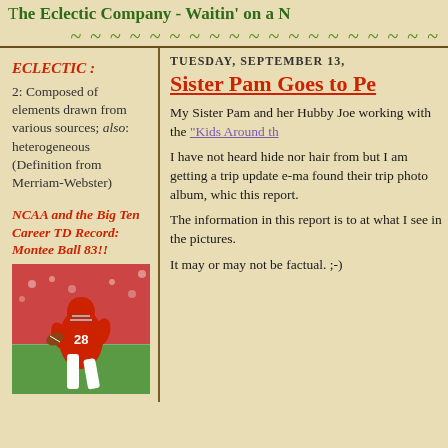The Eclectic Company - Waitin' on a N
~ ~ ~ ~ ~ ~ ~ ~ ~ ~ ~ ~ ~ ~ ~ ~ ~ ~ ~ ~
ECLECTIC :
2: Composed of elements drawn from various sources; also: heterogeneous (Definition from Merriam-Webster)
NCAA and the Big Ten Career TD Record: Montee Ball 83!!
[Figure (photo): Football player wearing red jersey number 28 running with the ball]
TUESDAY, SEPTEMBER 13,
Sister Pam Goes to Pe
My Sister Pam and her Hubby Joe working with the "Kids Around th
I have not heard hide nor hair from but I am getting a trip update e-ma found their trip photo album, whic this report.
The information in this report is to at what I see in the pictures.
It may or may not be factual. ;-)